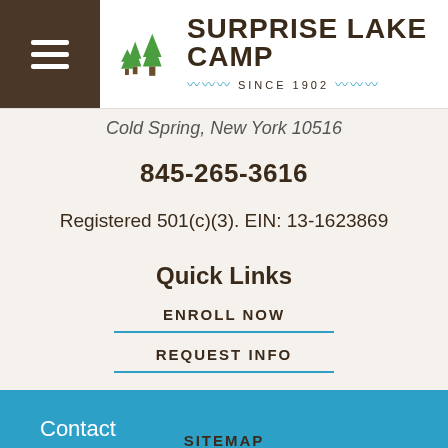Surprise Lake Camp — Since 1902
Cold Spring, New York 10516
845-265-3616
Registered 501(c)(3). EIN: 13-1623869
Quick Links
ENROLL NOW
REQUEST INFO
Contact
SITEMAP